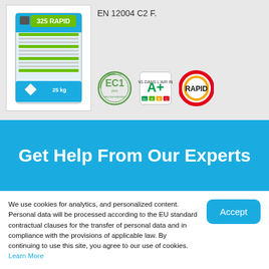[Figure (photo): Product bag of 325 RAPID tile adhesive, 25kg, with teal/blue branding and table on back label]
EN 12004 C2 F.
[Figure (other): Three certification badges: EC1 plus very low emission (GEV-EMICODE), A+ indoor air quality rating, and RAPID logo badge]
Get Help From Our Experts
We use cookies for analytics, and personalized content. Personal data will be processed according to the EU standard contractual clauses for the transfer of personal data and in compliance with the provisions of applicable law. By continuing to use this site, you agree to our use of cookies. Learn More